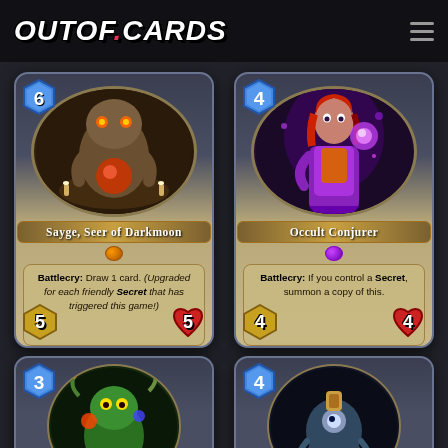OUTOF.CARDS
[Figure (illustration): Hearthstone card: Sayge, Seer of Darkmoon. Cost 6, Attack 5, Health 5. Battlecry: Draw 1 card. (Upgraded for each friendly Secret that has triggered this game!)]
[Figure (illustration): Hearthstone card: Occult Conjurer. Cost 4, Attack 4, Health 4. Battlecry: If you control a Secret, summon a copy of this.]
[Figure (illustration): Hearthstone card: partially visible, cost 3]
[Figure (illustration): Hearthstone card: partially visible, cost 4]